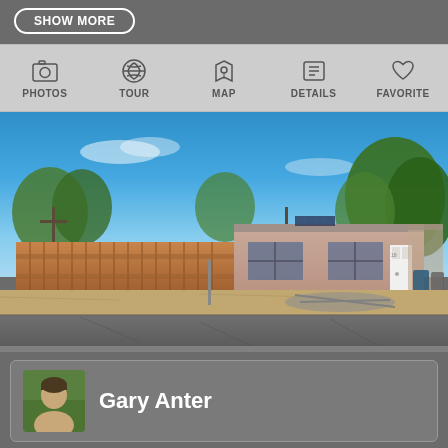SHOW MORE
[Figure (screenshot): Navigation icon bar with PHOTOS, TOUR, MAP, DETAILS, FAVORITE icons]
[Figure (photo): Exterior photo of a single-story residential home with wooden fence, blue sky, and trees. A pink/tan stucco house with flat roof, two windows, white door, and trash cans visible. Street in foreground.]
Gary Anter